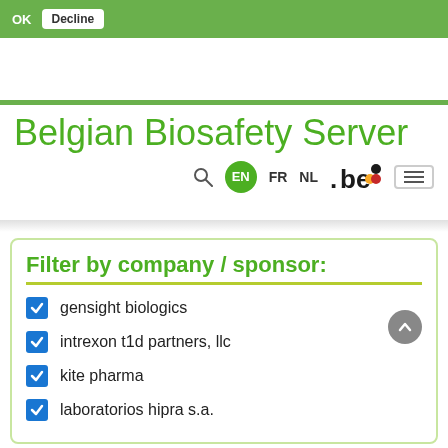OK  Decline
Belgian Biosafety Server
EN  FR  NL  .be
Filter by company / sponsor:
gensight biologics
intrexon t1d partners, llc
kite pharma
laboratorios hipra s.a.